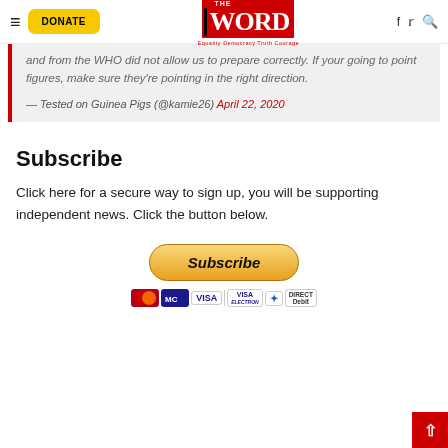THE WORD — Equality Democracy Truth Courage — navigation bar with DONATE button
and from the WHO did not allow us to prepare correctly. If your going to point figures, make sure they're pointing in the right direction. — Tested on Guinea Pigs (@kamie26) April 22, 2020
Subscribe
Click here for a secure way to sign up, you will be supporting independent news. Click the button below.
[Figure (other): Subscribe button with payment icons: Mastercard, Visa, Visa Electron, American Express, Direct Debit]